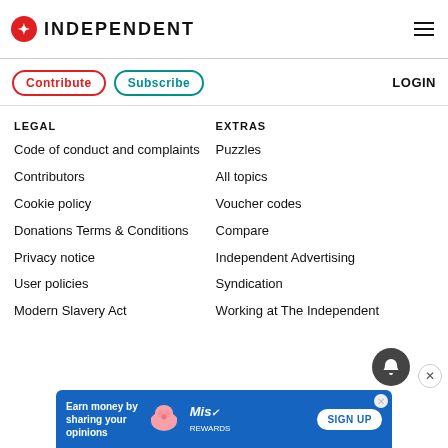INDEPENDENT
Contribute
Subscribe
LOGIN
LEGAL
Code of conduct and complaints
Contributors
Cookie policy
Donations Terms & Conditions
Privacy notice
User policies
Modern Slavery Act
EXTRAS
Puzzles
All topics
Voucher codes
Compare
Independent Advertising
Syndication
Working at The Independent
[Figure (infographic): Blue advertisement banner: Earn money by sharing your opinions. MiQ Rewards. SIGN UP button.]